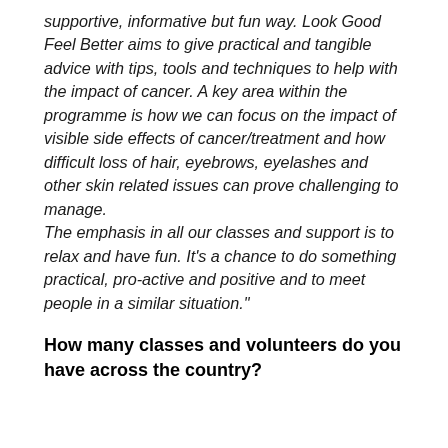supportive, informative but fun way. Look Good Feel Better aims to give practical and tangible advice with tips, tools and techniques to help with the impact of cancer. A key area within the programme is how we can focus on the impact of visible side effects of cancer/treatment and how difficult loss of hair, eyebrows, eyelashes and other skin related issues can prove challenging to manage.
The emphasis in all our classes and support is to relax and have fun. It's a chance to do something practical, pro-active and positive and to meet people in a similar situation."
How many classes and volunteers do you have across the country?